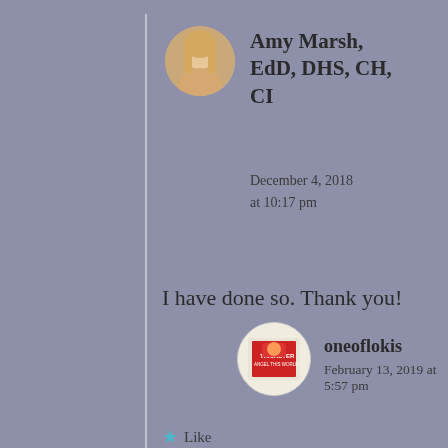Amy Marsh, EdD, DHS, CH, CI
December 4, 2018 at 10:17 pm
I have done so. Thank you!
Like
oneoflokis
February 13, 2019 at 5:57 pm